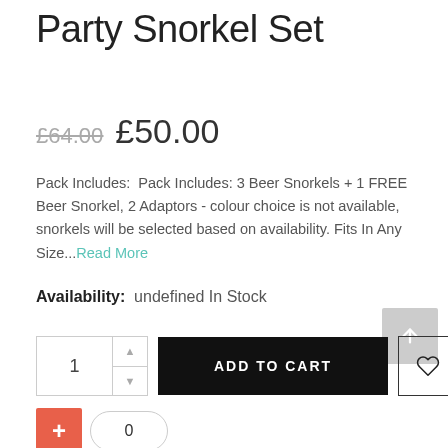Party Snorkel Set
£64.00  £50.00
Pack Includes:  Pack Includes: 3 Beer Snorkels + 1 FREE Beer Snorkel, 2 Adaptors - colour choice is not available, snorkels will be selected based on availability. Fits In Any Size...Read More
Availability:  undefined In Stock